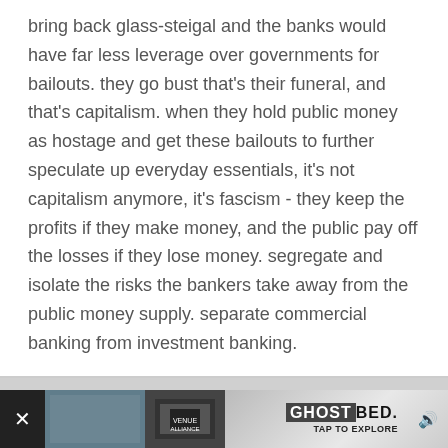bring back glass-steigal and the banks would have far less leverage over governments for bailouts. they go bust that's their funeral, and that's capitalism. when they hold public money as hostage and get these bailouts to further speculate up everyday essentials, it's not capitalism anymore, it's fascism - they keep the profits if they make money, and the public pay off the losses if they lose money. segregate and isolate the risks the bankers take away from the public money supply. separate commercial banking from investment banking.
Little Fish
Posted September 25, 2012
#39
On 9/25/2012 at 8:16 PM, questionmark said:
Money is one dollar bill, not much, but money. And now you are going to tell me that this one dollar bill buys you less gold than it did 2 years ago. Where I agree, but the value of that gold is still